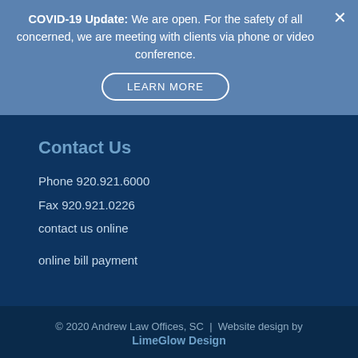COVID-19 Update: We are open. For the safety of all concerned, we are meeting with clients via phone or video conference.
LEARN MORE
Contact Us
Phone 920.921.6000
Fax 920.921.0226
contact us online
online bill payment
© 2020 Andrew Law Offices, SC | Website design by LimeGlow Design